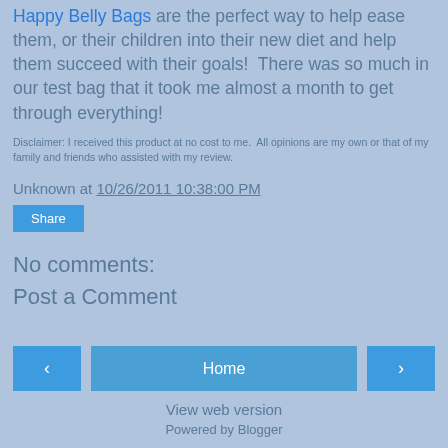Happy Belly Bags are the perfect way to help ease them, or their children into their new diet and help them succeed with their goals!  There was so much in our test bag that it took me almost a month to get through everything!
Disclaimer: I received this product at no cost to me.  All opinions are my own or that of my family and friends who assisted with my review.
Unknown at 10/26/2011 10:38:00 PM
Share
No comments:
Post a Comment
Home
View web version
Powered by Blogger